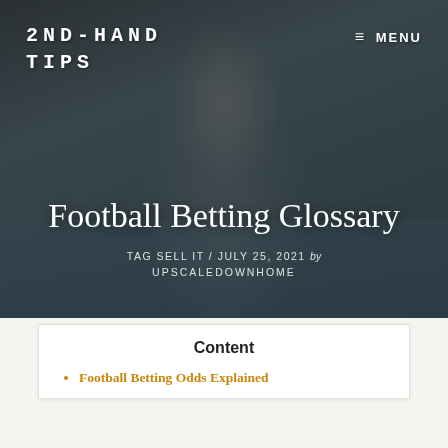2ND-HAND TIPS
≡ MENU
[Figure (photo): Hero image: woman with sunglasses and arms raised on a boat with water/sea in background, darkened overlay]
Football Betting Glossary
TAG SELL IT / JULY 25, 2021 by UPSCALEDOWNHOME
Content
Football Betting Odds Explained